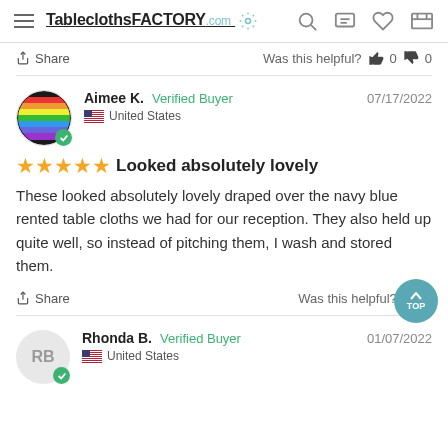TableclothsFACTORY.com navigation bar
Share   Was this helpful?  0  0
Aimee K.  Verified Buyer   07/17/2022   United States
★★★★★ Looked absolutely lovely
These looked absolutely lovely draped over the navy blue rented table cloths we had for our reception. They also held up quite well, so instead of pitching them, I wash and stored them.
Share   Was this helpful?  0
Rhonda B.  Verified Buyer   01/07/2022   United States